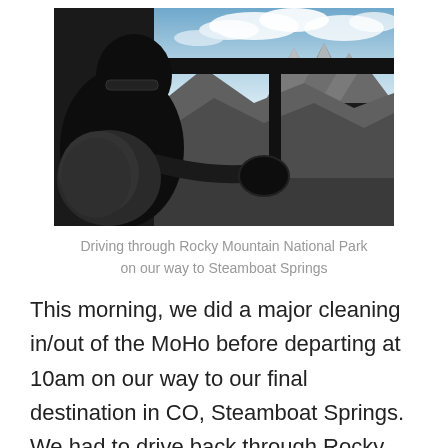[Figure (photo): Person in silhouette driving a vehicle, viewed from the side, with mountains and cloudy sky visible through the windshield. Rocky Mountain National Park scenery.]
Driving through Rocky Mountain National Park on our way to Steamboat Springs
This morning, we did a major cleaning in/out of the MoHo before departing at 10am on our way to our final destination in CO, Steamboat Springs. We had to drive back through Rocky Mountain National Park (this time with the MoHo and toad). A little dicey with the hairpin turns